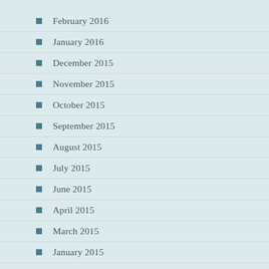February 2016
January 2016
December 2015
November 2015
October 2015
September 2015
August 2015
July 2015
June 2015
April 2015
March 2015
January 2015
December 2014
November 2014
October 2014